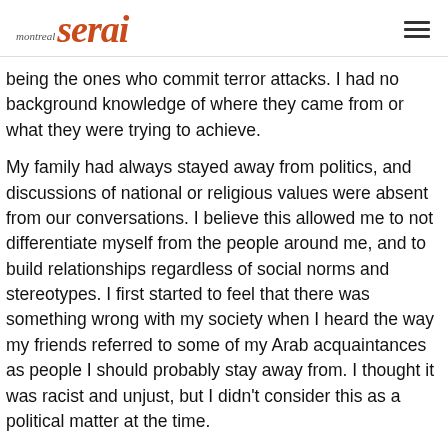montreal serai
being the ones who commit terror attacks. I had no background knowledge of where they came from or what they were trying to achieve.
My family had always stayed away from politics, and discussions of national or religious values were absent from our conversations. I believe this allowed me to not differentiate myself from the people around me, and to build relationships regardless of social norms and stereotypes. I first started to feel that there was something wrong with my society when I heard the way my friends referred to some of my Arab acquaintances as people I should probably stay away from. I thought it was racist and unjust, but I didn't consider this as a political matter at the time.